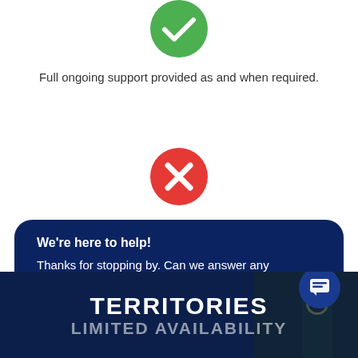[Figure (illustration): Green circle with white checkmark icon]
Full ongoing support provided as and when required.
[Figure (illustration): Red circle with white X icon]
We're here to help!
Thanks for stopping by. Can we answer any questions for you?
[Figure (photo): Dark night photo of Big Ben / clock tower with dark blue overlay, with chat icon button overlay]
TERRITORIES
LIMITED AVAILABILITY